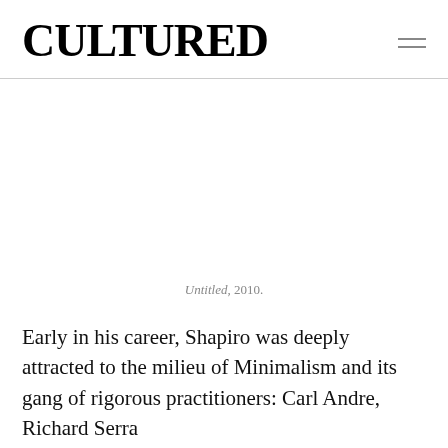CULTURED
[Figure (photo): White/blank image area representing an artwork placeholder]
Untitled, 2010.
Early in his career, Shapiro was deeply attracted to the milieu of Minimalism and its gang of rigorous practitioners: Carl Andre, Richard Serra